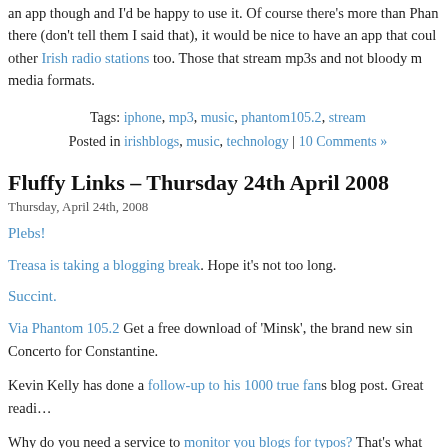an app though and I'd be happy to use it. Of course there's more than Phantom out there (don't tell them I said that), it would be nice to have an app that could do other Irish radio stations too. Those that stream mp3s and not bloody media formats.
Tags: iphone, mp3, music, phantom105.2, stream
Posted in irishblogs, music, technology | 10 Comments »
Fluffy Links – Thursday 24th April 2008
Thursday, April 24th, 2008
Plebs!
Treasa is taking a blogging break. Hope it's not too long.
Succint.
Via Phantom 105.2 Get a free download of 'Minsk', the brand new sin… Concerto for Constantine.
Kevin Kelly has done a follow-up to his 1000 true fans blog post. Great readi…
Why do you need a service to monitor you blogs for typos? That's what com… are for.
Wasn't this an episode of Torchwood where people are growing giant slabs… Peta funded?
Four Chefs on the layouts of their kitchens.